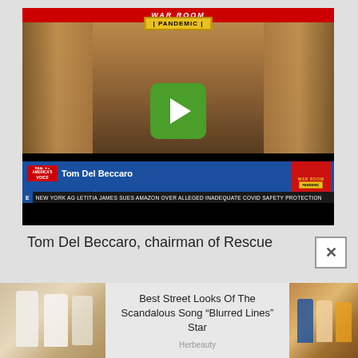[Figure (screenshot): Video player screenshot showing a TV news broadcast. Person in a suit visible with overlay graphics. 'WAR ROOM PANDEMIC' branding. Lower third shows 'Tom Del Beccaro - Chairman and Author Recall Newsom and The Divided Era'. Real America's Voice logo. Ticker: 'NEW YORK AG LETITIA JAMES SUES AMAZON OVER ALLEGED INADEQUATE COVID SAFETY PROTECTION'. Green play button overlay in center.]
Tom Del Beccaro, chairman of Rescue
[Figure (photo): Advertisement image showing women in white dresses on a street (left), and a group of people at what appears to be a restaurant or bar setting (right).]
Best Street Looks Of The Scandalous Song “Blurred Lines” Star
Herbeauty